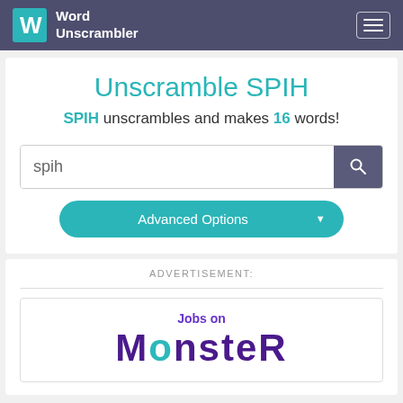Word Unscrambler
Unscramble SPIH
SPIH unscrambles and makes 16 words!
spih (search input)
Advanced Options
ADVERTISEMENT:
[Figure (logo): Jobs on Monster logo advertisement]